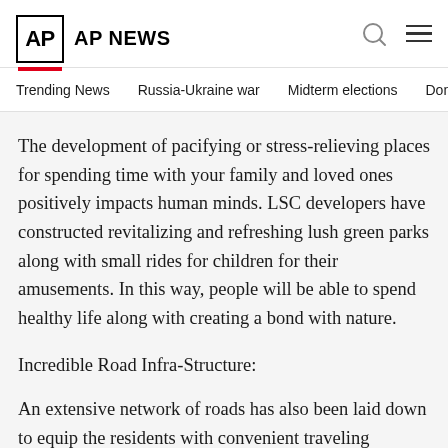AP AP NEWS
Trending News  Russia-Ukraine war  Midterm elections  Dona
The development of pacifying or stress-relieving places for spending time with your family and loved ones positively impacts human minds. LSC developers have constructed revitalizing and refreshing lush green parks along with small rides for children for their amusements. In this way, people will be able to spend healthy life along with creating a bond with nature.
Incredible Road Infra-Structure:
An extensive network of roads has also been laid down to equip the residents with convenient traveling